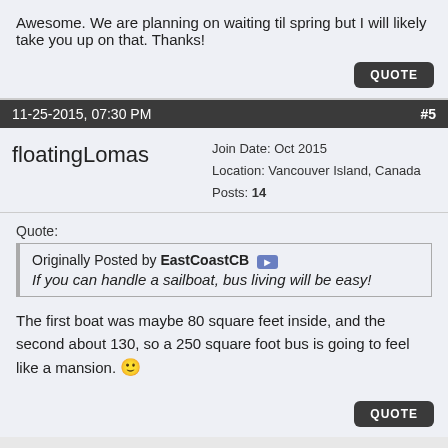Awesome. We are planning on waiting til spring but I will likely take you up on that. Thanks!
QUOTE
11-25-2015, 07:30 PM   #5
floatingLomas
Join Date: Oct 2015 Location: Vancouver Island, Canada Posts: 14
Quote: Originally Posted by EastCoastCB If you can handle a sailboat, bus living will be easy!
The first boat was maybe 80 square feet inside, and the second about 130, so a 250 square foot bus is going to feel like a mansion.
QUOTE